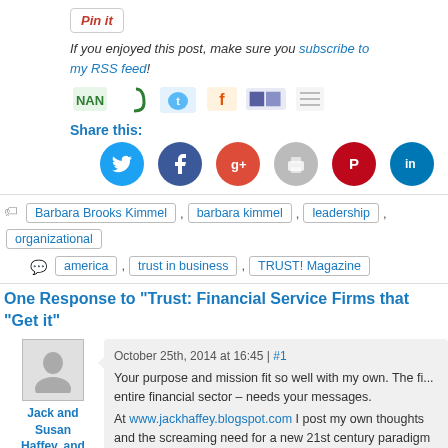[Figure (other): Pin it button]
If you enjoyed this post, make sure you subscribe to my RSS feed!
[Figure (other): Row of social/subscription icon buttons]
Share this:
[Figure (other): Social sharing circles: Twitter, Facebook, Google+, Print, Pinterest, LinkedIn]
Barbara Brooks Kimmel , barbara kimmel , leadership , organizational ... america , trust in business , TRUST! Magazine
One Response to “Trust: Financial Service Firms that “Get it”
October 25th, 2014 at 16:45 | #1
Your purpose and mission fit so well with my own. The fi... entire financial sector – needs your messages.
At www.jackhaffey.blogspot.com I post my own thoughts and the screaming need for a new 21st century paradigm reach its highest potential as 1. The economic system...
Jack and Susan Haffey, and Family.